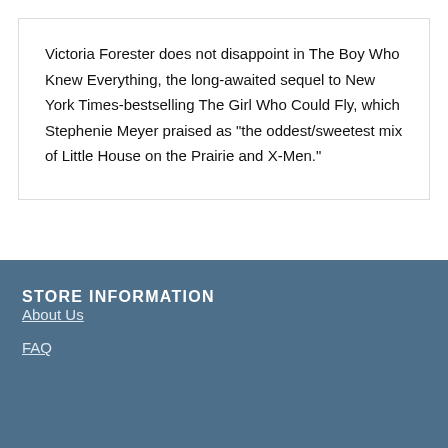Victoria Forester does not disappoint in The Boy Who Knew Everything, the long-awaited sequel to New York Times-bestselling The Girl Who Could Fly, which Stephenie Meyer praised as "the oddest/sweetest mix of Little House on the Prairie and X-Men."
STORE INFORMATION
About Us
FAQ